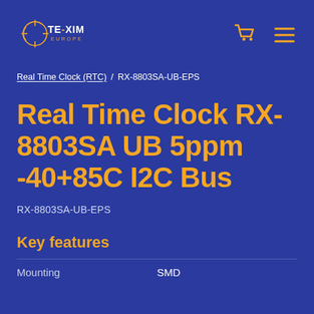Texim Europe logo, cart icon, menu icon
Real Time Clock (RTC) / RX-8803SA-UB-EPS
Real Time Clock RX-8803SA UB 5ppm -40+85C I2C Bus
RX-8803SA-UB-EPS
Key features
| Mounting | SMD |
| --- | --- |